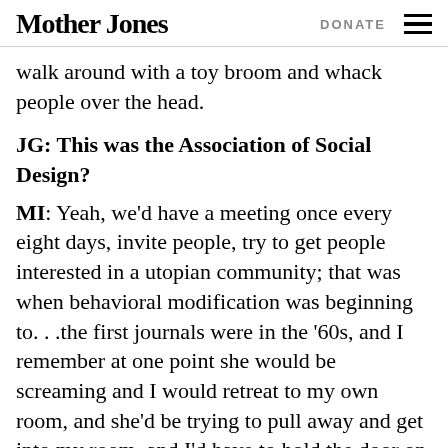Mother Jones   DONATE
walk around with a toy broom and whack people over the head.
JG: This was the Association of Social Design?
MI: Yeah, we'd have a meeting once every eight days, invite people, try to get people interested in a utopian community; that was when behavioral modification was beginning to. . .the first journals were in the '60s, and I remember at one point she would be screaming and I would retreat to my own room, and she'd be trying to pull away and get into my room, and I'd have to hold the door on one side to keep her from disturbing me while I tried to talk to someone.